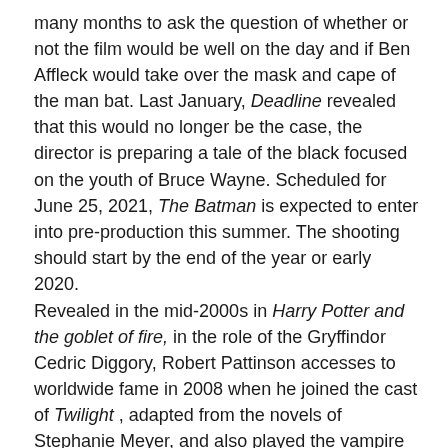many months to ask the question of whether or not the film would be well on the day and if Ben Affleck would take over the mask and cape of the man bat. Last January, Deadline revealed that this would no longer be the case, the director is preparing a tale of the black focused on the youth of Bruce Wayne. Scheduled for June 25, 2021, The Batman is expected to enter into pre-production this summer. The shooting should start by the end of the year or early 2020.
Revealed in the mid-2000s in Harry Potter and the goblet of fire, in the role of the Gryffindor Cedric Diggory, Robert Pattinson accesses to worldwide fame in 2008 when he joined the cast of Twilight , adapted from the novels of Stephanie Meyer, and also played the vampire Edward Cullen alongside Kristen Stewart. Taking the traits of Bruce Wayne, the british comedian would thus become the second-youngest actor to incarnate the role of the Black Knight, after the iconic Christian